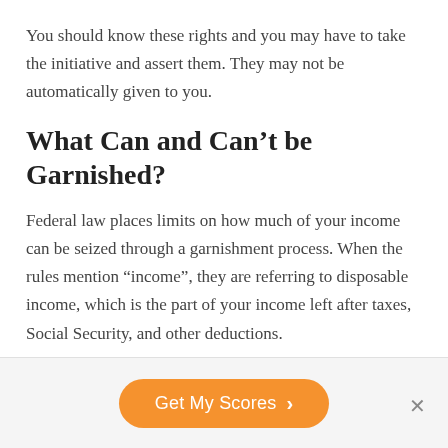You should know these rights and you may have to take the initiative and assert them. They may not be automatically given to you.
What Can and Can't be Garnished?
Federal law places limits on how much of your income can be seized through a garnishment process. When the rules mention “income”, they are referring to disposable income, which is the part of your income left after taxes, Social Security, and other deductions.